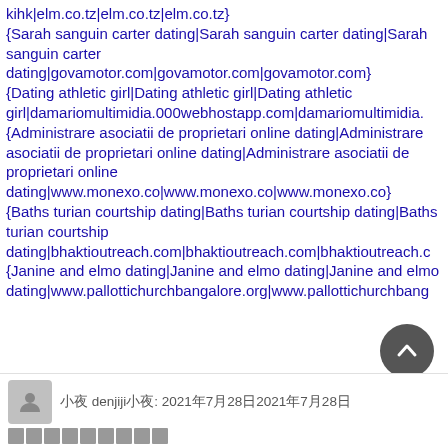kihk|elm.co.tz|elm.co.tz|elm.co.tz}
{Sarah sanguin carter dating|Sarah sanguin carter dating|Sarah sanguin carter dating|govamotor.com|govamotor.com|govamotor.com}
{Dating athletic girl|Dating athletic girl|Dating athletic girl|damariomultimidia.000webhostapp.com|damariomultimidia.
{Administrare asociatii de proprietari online dating|Administrare asociatii de proprietari online dating|Administrare asociatii de proprietari online dating|www.monexo.co|www.monexo.co|www.monexo.co}
{Baths turian courtship dating|Baths turian courtship dating|Baths turian courtship dating|bhaktioutreach.com|bhaktioutreach.com|bhaktioutreach.c
{Janine and elmo dating|Janine and elmo dating|Janine and elmo dating|www.pallottichurchbangalore.org|www.pallottichurchbang
小夜 denjiji小夜: 2021年7月28日2021年7月28日
■■■■■■■■■